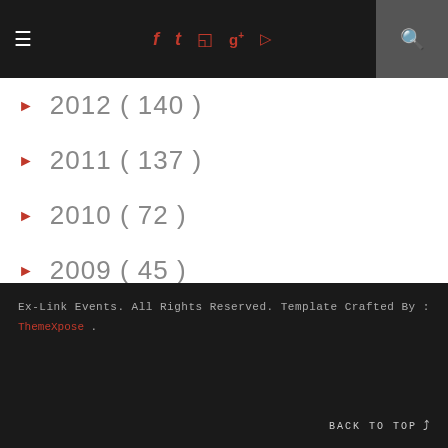≡ | f t ☷ g+ ▶ | 🔍
► 2012 ( 140 )
► 2011 ( 137 )
► 2010 ( 72 )
► 2009 ( 45 )
► 2008 ( 75 )
► 2007 ( 16 )
Ex-Link Events. All Rights Reserved. Template Crafted By : ThemeXpose . BACK TO TOP ⋀⋀